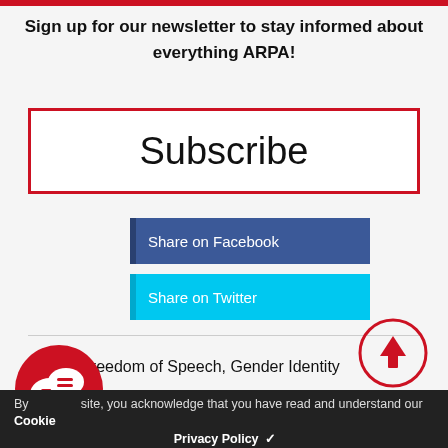Sign up for our newsletter to stay informed about everything ARPA!
Subscribe
Share on Facebook
Share on Twitter
TAGS: Freedom of Speech, Gender Identity
[Figure (illustration): Red circle with two chat bubble icons containing text lines]
[Figure (illustration): Circle with upward arrow icon]
By using this site, you acknowledge that you have read and understand our Cookie Privacy Policy ✓